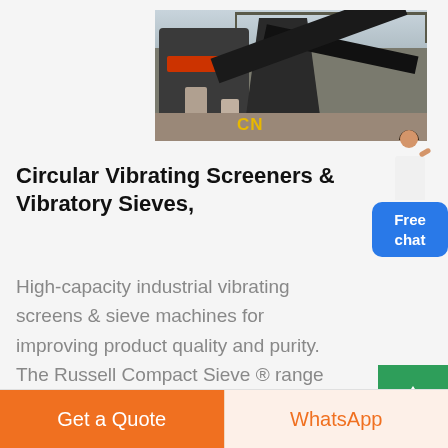[Figure (photo): Industrial mining/crushing machinery with conveyors, structures, and pillars at a quarry or mining facility. Yellow 'CN' label in bottom right of photo.]
Circular Vibrating Screeners & Vibratory Sieves,
High-capacity industrial vibrating screens & sieve machines for improving product quality and purity. The Russell Compact Sieve ® range
Get a Quote
WhatsApp